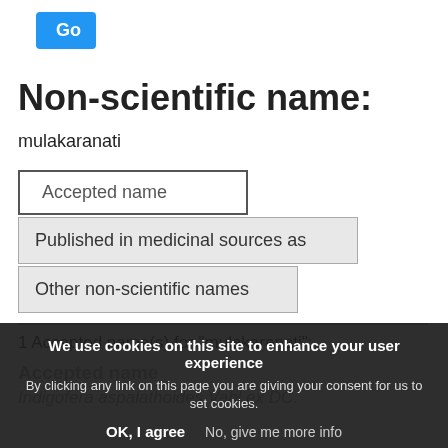[Figure (screenshot): Blue 'Go' button UI element]
Non-scientific name:
mulakaranati
Accepted name
Published in medicinal sources as
Other non-scientific names
1 Accepted name(s) for "mulakaranati":
Accepted name
Indigofera aspalathoides Vahl ex DC.
We use cookies on this site to enhance your user experience
By clicking any link on this page you are giving your consent for us to set cookies.
OK, I agree    No, give me more info